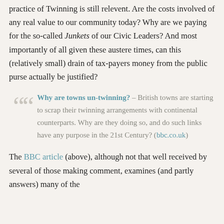practice of Twinning is still relevent. Are the costs involved of any real value to our community today? Why are we paying for the so-called Junkets of our Civic Leaders? And most importantly of all given these austere times, can this (relatively small) drain of tax-payers money from the public purse actually be justified?
Why are towns un-twinning? – British towns are starting to scrap their twinning arrangements with continental counterparts. Why are they doing so, and do such links have any purpose in the 21st Century? (bbc.co.uk)
The BBC article (above), although not that well received by several of those making comment, examines (and partly answers) many of the